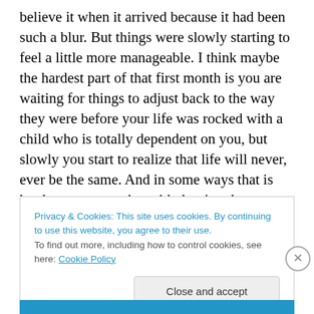believe it when it arrived because it had been such a blur. But things were slowly starting to feel a little more manageable. I think maybe the hardest part of that first month is you are waiting for things to adjust back to the way they were before your life was rocked with a child who is totally dependent on you, but slowly you start to realize that life will never, ever be the same. And in some ways that is hard to come to grips with, but in others you couldn't be more happy about it. It depends on the day and how well your child slept the night before LOL.
Privacy & Cookies: This site uses cookies. By continuing to use this website, you agree to their use.
To find out more, including how to control cookies, see here: Cookie Policy